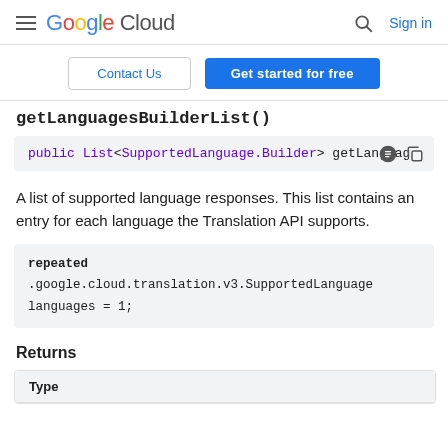Google Cloud  Sign in
Contact Us  Get started for free
getLanguagesBuilderList()
public List<SupportedLanguage.Builder> getLanguag
A list of supported language responses. This list contains an entry for each language the Translation API supports.
repeated .google.cloud.translation.v3.SupportedLanguage languages = 1;
Returns
| Type |
| --- |